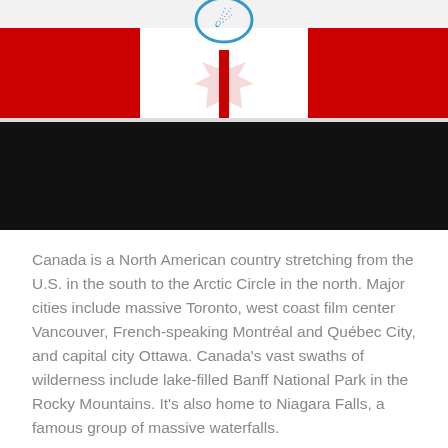[Figure (illustration): Top portion of a Canadian flag graphic with red and white sections and a partial maple leaf/emblem visible, with a black banner below it.]
Canada is a North American country stretching from the U.S. in the south to the Arctic Circle in the north. Major cities include massive Toronto, west coast film center Vancouver, French-speaking Montréal and Québec City, and capital city Ottawa. Canada's vast swaths of wilderness include lake-filled Banff National Park in the Rocky Mountains. It's also home to Niagara Falls, a famous group of massive waterfalls.